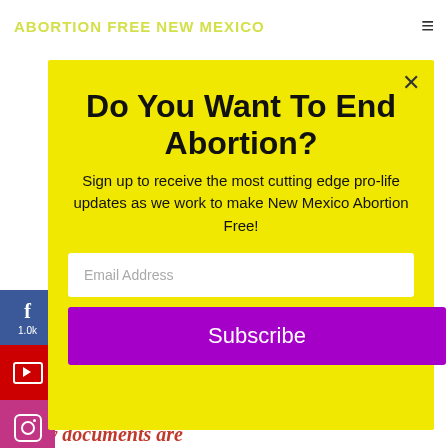ABORTION FREE NEW MEXICO
Do You Want To End Abortion?
Sign up to receive the most cutting edge pro-life updates as we work to make New Mexico Abortion Free!
Email Address
Subscribe
the European Medicines Agency has. The full study documents are